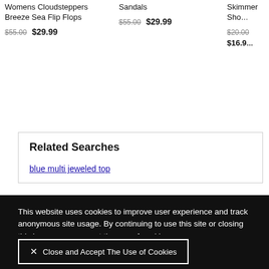Womens Cloudsteppers Breeze Sea Flip Flops
$55.00  $29.99
Sandals
$55.00  $29.99
Skimmer Sho...
$20.00  $16.9...
Related Searches
blue multi jeweled top
This website uses cookies to improve user experience and track anonymous site usage. By continuing to use this site or closing this banner, you accept the use of cookies.
Click here to read more about how we use cookies
.
✕ Close and Accept The Use of Cookies